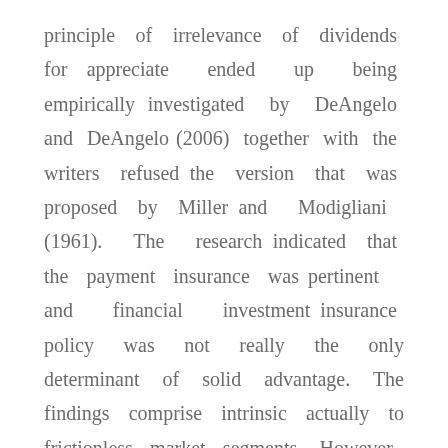principle of irrelevance of dividends for appreciate ended up being empirically investigated by DeAngelo and DeAngelo (2006) together with the writers refused the version that was proposed by Miller and Modigliani (1961). The research indicated that the payment insurance was pertinent and financial investment insurance policy was not really the only determinant of solid advantage. The findings comprise intrinsic actually to frictionless market segments. However, the study paid attention to total rewards